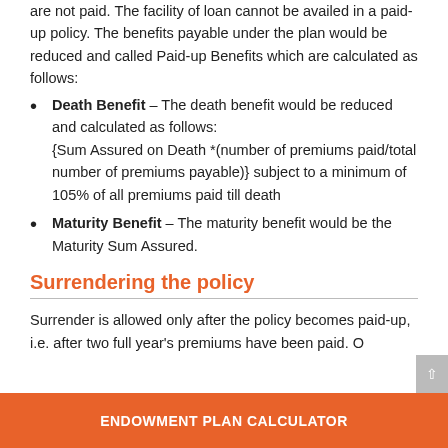are not paid. The facility of loan cannot be availed in a paid-up policy. The benefits payable under the plan would be reduced and called Paid-up Benefits which are calculated as follows:
Death Benefit – The death benefit would be reduced and calculated as follows: {Sum Assured on Death *(number of premiums paid/total number of premiums payable)} subject to a minimum of 105% of all premiums paid till death
Maturity Benefit – The maturity benefit would be the Maturity Sum Assured.
Surrendering the policy
Surrender is allowed only after the policy becomes paid-up, i.e. after two full year's premiums have been paid. O
ENDOWMENT PLAN CALCULATOR